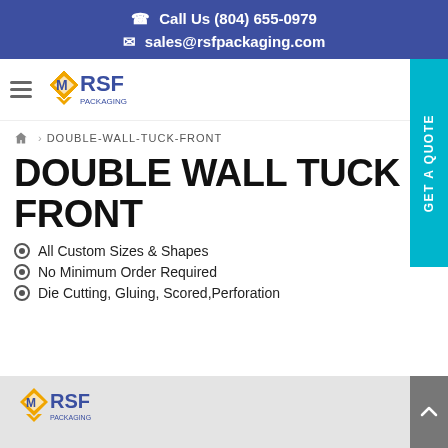Call Us (804) 655-0979
sales@rsfpackaging.com
[Figure (logo): MRSF Packaging logo with hamburger menu icon]
DOUBLE-WALL-TUCK-FRONT
DOUBLE WALL TUCK FRONT
All Custom Sizes & Shapes
No Minimum Order Required
Die Cutting, Gluing, Scored,Perforation
[Figure (logo): MRSF Packaging logo in bottom grey area]